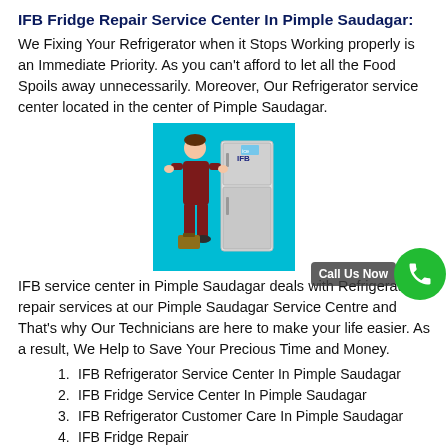IFB Fridge Repair Service Center In Pimple Saudagar:
We Fixing Your Refrigerator when it Stops Working properly is an Immediate Priority. As you can't afford to let all the Food Spoils away unnecessarily. Moreover, Our Refrigerator service center located in the center of Pimple Saudagar.
[Figure (illustration): Illustration of a technician in brown overalls standing next to a two-door refrigerator against a cyan/turquoise background.]
IFB service center in Pimple Saudagar deals with Refrigerator repair services at our Pimple Saudagar Service Centre and That's why Our Technicians are here to make your life easier. As a result, We Help to Save Your Precious Time and Money.
IFB Refrigerator Service Center In Pimple Saudagar
IFB Fridge Service Center In Pimple Saudagar
IFB Refrigerator Customer Care In Pimple Saudagar
IFB Fridge Repair
IFB Refrigerator Repair In Pimple Saudagar
IFB Refrigerator Repair